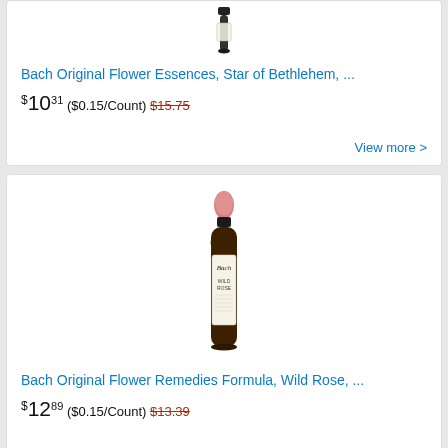[Figure (photo): Bach Original Flower Essences bottle, dropper bottle with dark glass, partial view from top]
Bach Original Flower Essences, Star of Bethlehem, ...
$10.31 ($0.15/Count) $15.75
View more >
[Figure (photo): Bach Original Flower Remedies Formula Wild Rose dropper bottle, brown glass with pink rubber dropper top and white label]
Bach Original Flower Remedies Formula, Wild Rose, ...
$12.89 ($0.15/Count) $13.39
View more >